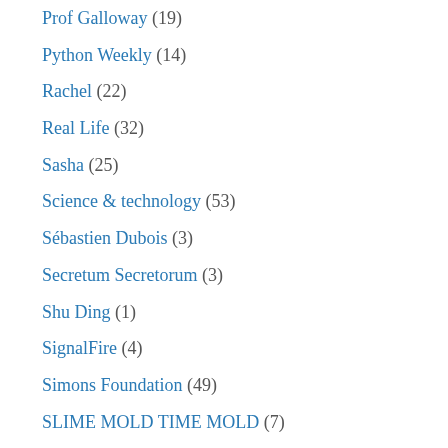Prof Galloway (19)
Python Weekly (14)
Rachel (22)
Real Life (32)
Sasha (25)
Science & technology (53)
Sébastien Dubois (3)
Secretum Secretorum (3)
Shu Ding (1)
SignalFire (4)
Simons Foundation (49)
SLIME MOLD TIME MOLD (7)
Slyar Home (8)